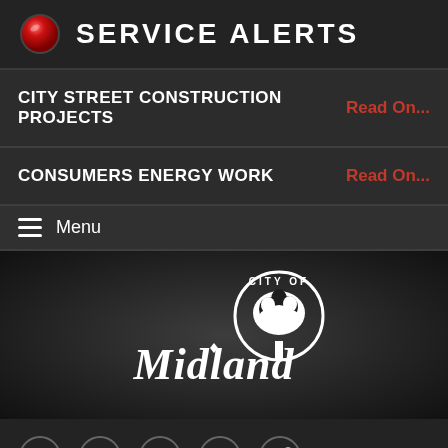SERVICE ALERTS
CITY STREET CONSTRUCTION PROJECTS — Read On...
CONSUMERS ENERGY WORK — Read On...
Menu
[Figure (logo): City of Midland logo — white circular seal with tree, text 'CITY OF Midland' in white on dark background]
[Figure (infographic): Row of social media icon buttons: Facebook (f), Twitter (bird), YouTube (play), Settings (gear), Share (arrow)]
Search City of Midland